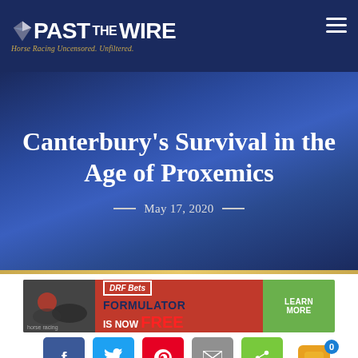Past The Wire — Horse Racing Uncensored. Unfiltered.
Canterbury's Survival in the Age of Proxemics
May 17, 2020
[Figure (other): DRF Bets advertisement banner: FORMULATOR IS NOW FREE — LEARN MORE]
[Figure (other): Social share buttons: Facebook, Twitter, Pinterest, Email, Share; and a chat bubble icon with badge showing 0]